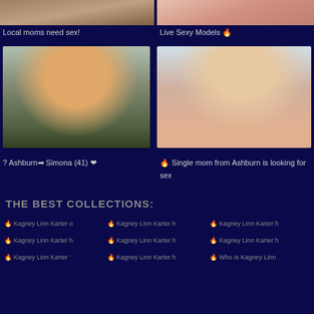[Figure (photo): Partial photo top-left, cropped adult content]
[Figure (photo): Partial photo top-right, cropped adult content]
Local moms need sex!
Live Sexy Models 🔥
[Figure (photo): Person sitting on chair smiling, wearing gray pants and purple top]
[Figure (photo): Person lying down, adult content photo]
? Ashburn➡ Simona (41) ❤
🔥 Single mom from Ashburn is looking for sex
THE BEST COLLECTIONS:
🔥 Kagney Linn Karter o
🔥 Kagney Linn Karter h
🔥 Kagney Linn Karter h
🔥 Kagney Linn Karter h
🔥 Kagney Linn Karter h
🔥 Kagney Linn Karter h
🔥 Kagney Linn Karter '
🔥 Kagney Linn Karter h
🔥 Who Is Kagney Linn